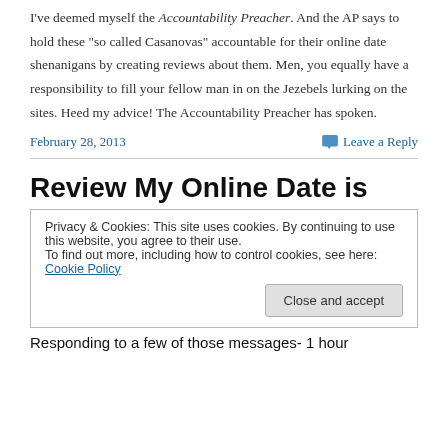I've deemed myself the Accountability Preacher. And the AP says to hold these “so called Casanovas” accountable for their online date shenanigans by creating reviews about them. Men, you equally have a responsibility to fill your fellow man in on the Jezebels lurking on the sites. Heed my advice! The Accountability Preacher has spoken.
February 28, 2013
Leave a Reply
Review My Online Date is
Privacy & Cookies: This site uses cookies. By continuing to use this website, you agree to their use.
To find out more, including how to control cookies, see here: Cookie Policy
Close and accept
Responding to a few of those messages- 1 hour